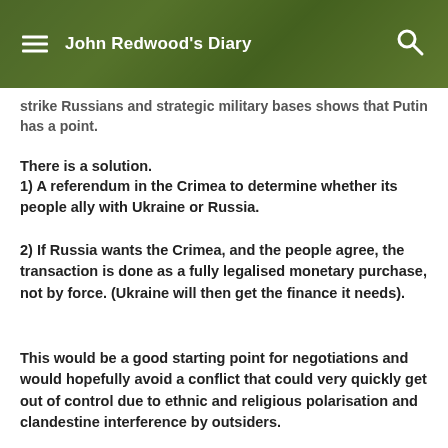John Redwood's Diary
strike Russians and strategic military bases shows that Putin has a point.
There is a solution.
1) A referendum in the Crimea to determine whether its people ally with Ukraine or Russia.
2) If Russia wants the Crimea, and the people agree, the transaction is done as a fully legalised monetary purchase, not by force. (Ukraine will then get the finance it needs).
This would be a good starting point for negotiations and would hopefully avoid a conflict that could very quickly get out of control due to ethnic and religious polarisation and clandestine interference by outsiders.